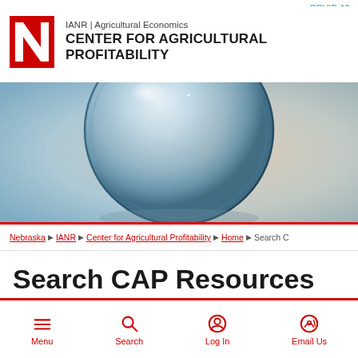COVID-19
[Figure (logo): University of Nebraska red N logo with IANR | Agricultural Economics and CENTER FOR AGRICULTURAL PROFITABILITY text]
[Figure (photo): Close-up photo of a glass sphere/crystal ball with blurred blue and warm background]
Nebraska › IANR › Center for Agricultural Profitability › Home › Search C
Search CAP Resources
Menu   Search   Log In   Email Us